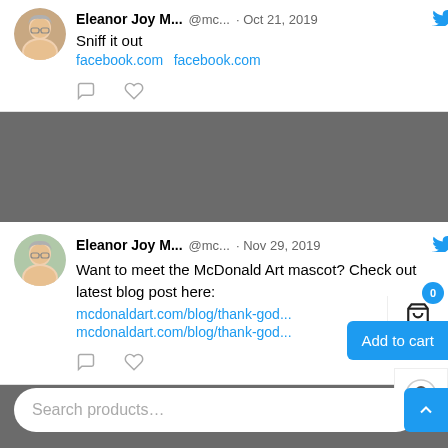[Figure (screenshot): Screenshot of a Twitter feed showing tweets by Eleanor Joy M... with social media icons and interaction buttons, overlaid by an e-commerce UI with cart, user icon, Add to cart button, and search bar.]
Sniff it out
facebook.com facebook.com
Eleanor Joy M... @mc... · Nov 29, 2019
Want to meet the McDonald Art mascot? Check out latest blog post here:
mcdonaldart.com/blog/thank-god...
mcdonaldart.com/blog/thank-god...
Eleanor Joy M... @mc... · Nov 29, 2019
$0
Add to cart
Search products…